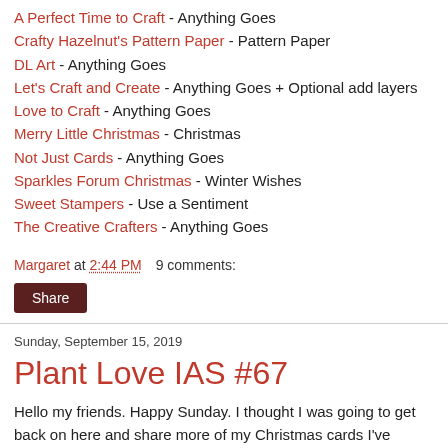A Perfect Time to Craft - Anything Goes
Crafty Hazelnut's Pattern Paper - Pattern Paper
DL Art - Anything Goes
Let's Craft and Create - Anything Goes + Optional add layers
Love to Craft - Anything Goes
Merry Little Christmas - Christmas
Not Just Cards - Anything Goes
Sparkles Forum Christmas - Winter Wishes
Sweet Stampers - Use a Sentiment
The Creative Crafters - Anything Goes
Margaret at 2:44 PM   9 comments:
Share
Sunday, September 15, 2019
Plant Love IAS #67
Hello my friends. Happy Sunday. I thought I was going to get back on here and share more of my Christmas cards I've